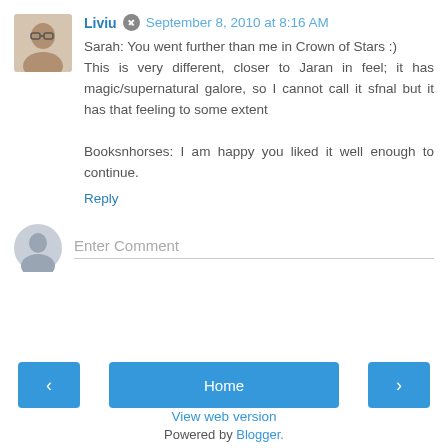Liviu  September 8, 2010 at 8:16 AM
Sarah: You went further than me in Crown of Stars :) This is very different, closer to Jaran in feel; it has magic/supernatural galore, so I cannot call it sfnal but it has that feeling to some extent

Booksnhorses: I am happy you liked it well enough to continue.
Reply
Enter Comment
Home
View web version
Powered by Blogger.